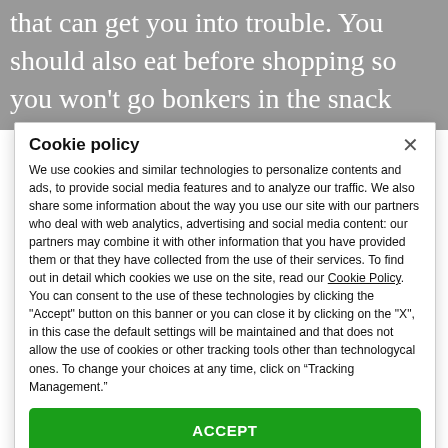that can get you into trouble. You should also eat before shopping so you won't go bonkers in the snack aisle or pastry section.
Cookie policy
We use cookies and similar technologies to personalize contents and ads, to provide social media features and to analyze our traffic. We also share some information about the way you use our site with our partners who deal with web analytics, advertising and social media content: our partners may combine it with other information that you have provided them or that they have collected from the use of their services. To find out in detail which cookies we use on the site, read our Cookie Policy. You can consent to the use of these technologies by clicking the "Accept" button on this banner or you can close it by clicking on the "X", in this case the default settings will be maintained and that does not allow the use of cookies or other tracking tools other than technologycal ones. To change your choices at any time, click on “Tracking Management.”
ACCEPT
TRACKERS MANAGEMENT
Show vendors | Show purposes